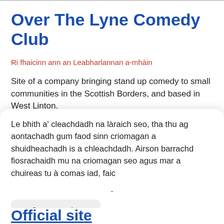Over The Lyne Comedy Club
Ri fhaicinn ann an Leabharlannan a-mhàin
Site of a company bringing stand up comedy to small communities in the Scottish Borders, and based in West Linton.
Ceann-latha air an deach a chur dhan tasglann: 2019-
Le bhith a' cleachdadh na làraich seo, tha thu ag aontachadh gum faod sinn criomagan a shuidheachadh is a chleachdadh. Airson barrachd fiosrachaidh mu na criomagan seo agus mar a chuireas tu à comas iad, faic
Ceart ma-tha